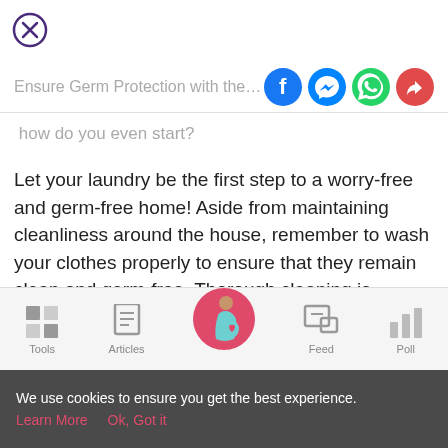[Figure (logo): Close button - circle with X inside, purple outline]
Ensure Germ Protection with the follo
how do you even start?
Let your laundry be the first step to a worry-free and germ-free home! Aside from maintaining cleanliness around the house, remember to wash your clothes properly to ensure that they remain clean and germ-free. Thorough cleaning is
[Figure (infographic): Bottom navigation bar with Tools, Articles, center pregnant woman icon, Feed, Poll icons]
We use cookies to ensure you get the best experience. Learn More   Ok, Got it